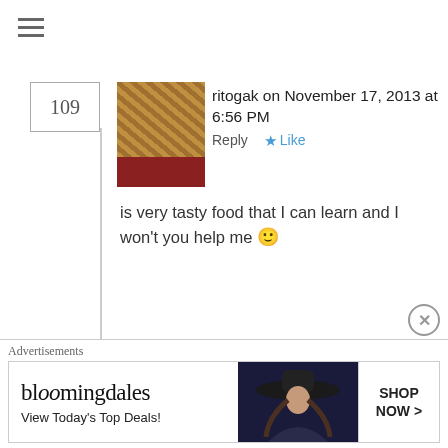ritogak on November 17, 2013 at 6:56 PM   Reply   ★ Like
[Figure (photo): Thumbnail photo of food (stacked layers, brownish/golden color with red base)]
is very tasty food that I can learn and I won't you help me 🙂
Just falafs | one equals two on January 16, 2014 at 12:40 AM   Reply   ★ Like
[…] Ingredients (serves 6–8): ♦ 6 cups reserved undressed chickpeas, farro, red onion and parsley 6 cloves garlic, finely chopped 2 tablespoons ground cumin ½ teaspoon salt ½ cup besan flour (or plain/all purpose flour if
Advertisements
[Figure (screenshot): Bloomingdales advertisement banner: 'View Today's Top Deals!' with image of woman in hat and 'SHOP NOW >' button]